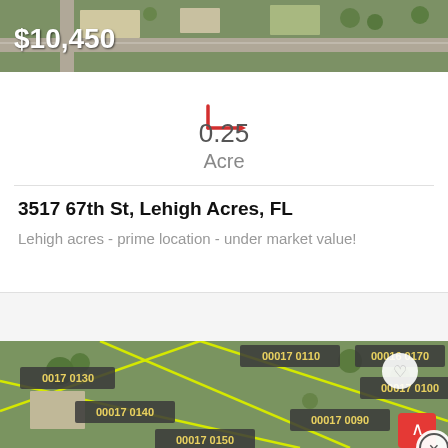[Figure (photo): Aerial/satellite map view of a property listing showing road and buildings, with price overlay $10,450]
0.25
Acre
3517 67th St, Lehigh Acres, FL
Lehigh acres - prime location - under market value!
[Figure (photo): Aerial satellite parcel map showing land parcels labeled 00017 0110, 00016 0170, 0017 0130, 00017 0100, 00017 0140, 00017 0090, 00017 0150, with yellow boundary lines and heart/favorite icon]